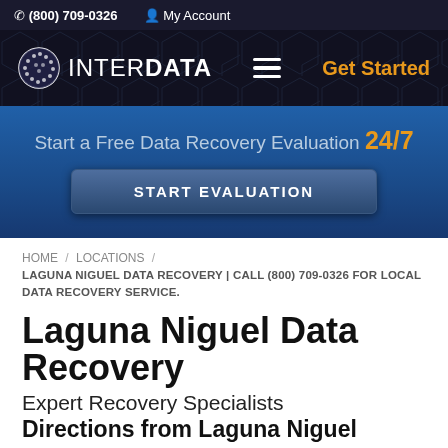(800) 709-0326  My Account
[Figure (logo): InterData logo with globe icon and navigation bar including hamburger menu and Get Started CTA]
Start a Free Data Recovery Evaluation 24/7
START EVALUATION
HOME / LOCATIONS / LAGUNA NIGUEL DATA RECOVERY | CALL (800) 709-0326 FOR LOCAL DATA RECOVERY SERVICE.
Laguna Niguel Data Recovery
Expert Recovery Specialists
Directions from Laguna Niguel